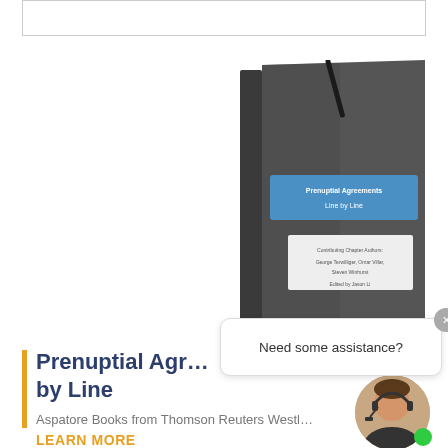[Figure (photo): A book cover for 'Prenuptial Agreements Line by Line' displayed as a 3D tilted book with dark gray cover featuring a blue title band and white author info section.]
[Figure (screenshot): Chat assistance widget showing 'Need some assistance?' message bubble with close button, and a customer service avatar with headset and green online indicator dot.]
Prenuptial Agreements Line by Line
Aspatore Books from Thomson Reuters Westlaw
LEARN MORE